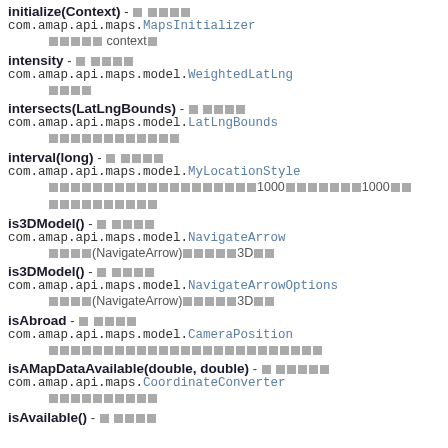initialize(Context) - 的 方法说明 com.amap.api.maps.MapsInitializer 传入的 context。
intensity - 的 属性说明 com.amap.api.maps.model.WeightedLatLng 权重。
intersects(LatLngBounds) - 的 方法说明 com.amap.api.maps.model.LatLngBounds 判断当前经纬度范围是否包含另一个经纬度范围。
interval(long) - 的 方法说明 com.amap.api.maps.model.MyLocationStyle 设置定位蓝点展示模式，连续定位模式下，设置发起定位请求的间隔时间，单位ms，最小值为1000ms，最小值为1000ms，其他场景该方法无效。
is3DModel() - 的 方法说明 com.amap.api.maps.model.NavigateArrow 设置(NavigateArrow)路线设置是否为3D模式。
is3DModel() - 的 方法说明 com.amap.api.maps.model.NavigateArrowOptions 设置(NavigateArrow)路线设置是否为3D模式。
isAbroad - 的 属性说明 com.amap.api.maps.model.CameraPosition 该经纬度是否在国外,国外无法保证数据的准确性，谨慎使用。
isAMapDataAvailable(double, double) - 的 方法说明 com.amap.api.maps.CoordinateConverter 是否有高德地图数据覆盖。
isAvailable() - 的 方法说明